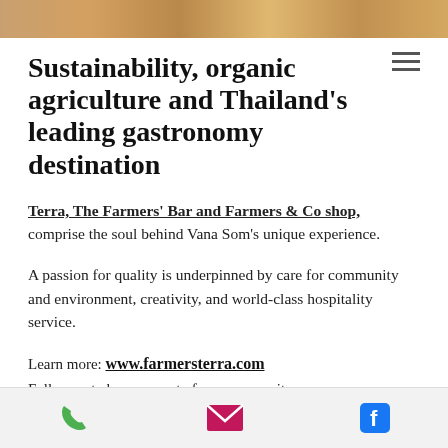[Figure (photo): Partial top image strip showing food or agricultural scene in warm tones]
Sustainability, organic agriculture and Thailand's leading gastronomy destination
Terra, The Farmers' Bar and Farmers & Co shop, comprise the soul behind Vana Som's unique experience.
A passion for quality is underpinned by care for community and environment, creativity, and world-class hospitality service.
Learn more: www.farmersterra.com
Follow us to become part of our community:
www.facebook.com/farmersterra
Phone | Email | Facebook icons